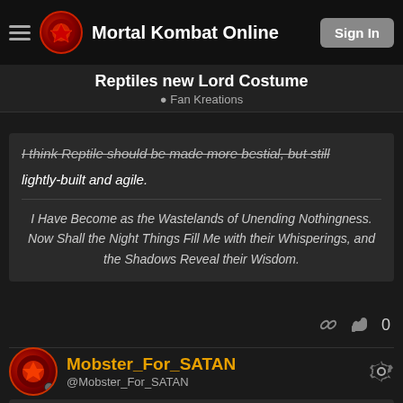Mortal Kombat Online
Reptiles new Lord Costume
Fan Kreations
I think Reptile should be made more bestial, but still lightly-built and agile.
I Have Become as the Wastelands of Unending Nothingness. Now Shall the Night Things Fill Me with their Whisperings, and the Shadows Reveal their Wisdom.
0
Mobster_For_SATAN
@Mobster_For_SATAN
RE: Fan Art: Reptiles new Lo...   08/30/2003 04:52 AM
Thats awesome good job! I love that helmet! All he need is a double bladed sword.